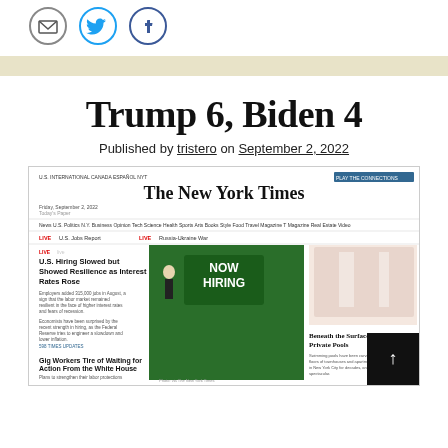[Figure (infographic): Social sharing icons: email (grey circle), Twitter (blue circle), Facebook (dark circle)]
Trump 6, Biden 4
Published by tristero on September 2, 2022
[Figure (screenshot): Screenshot of The New York Times homepage from Friday, September 2, 2022, showing headlines including 'U.S. Hiring Slowed but Showed Resilience as Interest Rates Rose', 'Gig Workers Tire of Waiting for Action From the White House', 'Beneath the Surface: A Peek at Private Pools', and images including a Now Hiring sign and an interior design photo.]